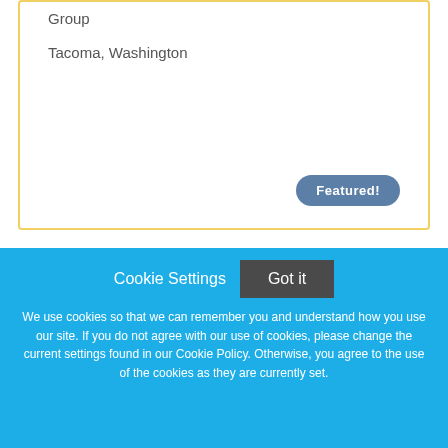Group
Tacoma, Washington
Featured!
[Figure (logo): Permanente Medicine logo — Washington Permanente Medical Group, blue background with white text]
Cookie Settings
Got it
We use cookies so that we can remember you and understand how you use our site. If you do not agree with our use of cookies, please change the current settings found in our Cookie Policy. Otherwise, you agree to the use of the cookies as they are currently set.